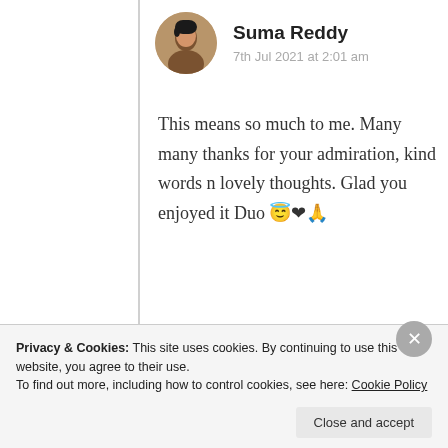[Figure (photo): Circular avatar photo of Suma Reddy]
Suma Reddy
7th Jul 2021 at 2:01 am
This means so much to me. Many many thanks for your admiration, kind words n lovely thoughts. Glad you enjoyed it Duo 😇❤🙏
★ Liked by 1 person
Log in to Reply
Advertisements
Privacy & Cookies: This site uses cookies. By continuing to use this website, you agree to their use.
To find out more, including how to control cookies, see here: Cookie Policy
Close and accept